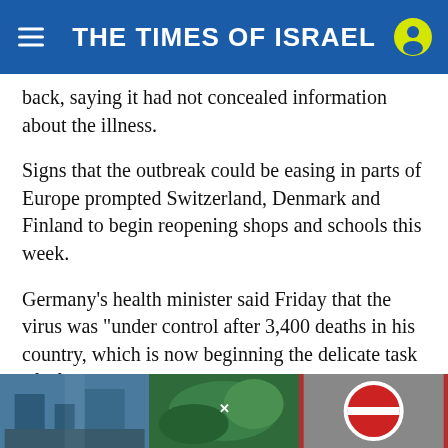THE TIMES OF ISRAEL
back, saying it had not concealed information about the illness.
Signs that the outbreak could be easing in parts of Europe prompted Switzerland, Denmark and Finland to begin reopening shops and schools this week.
Germany’s health minister said Friday that the virus was “under control after 3,400 deaths in his country, which is now beginning the delicate task of lifting some restrictions without triggering a secondary outbreak.
[Figure (photo): Three-panel photo strip showing buildings/street scene, green foliage, and a red circular sign]